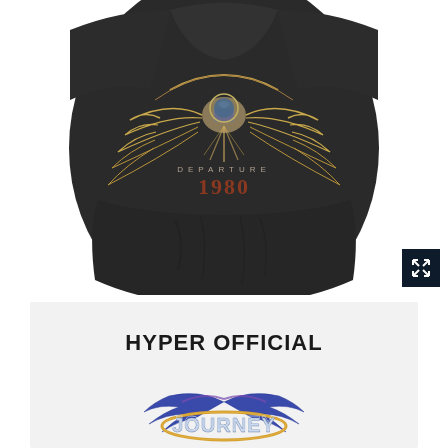[Figure (photo): A dark charcoal/black Journey band t-shirt laid flat showing the Departure 1980 graphic with an eagle/scarab design with wings spread, golden metallic detail, and text reading DEPARTURE 1980 in the center chest area. A small dark expand/zoom icon button is in the bottom right corner of the image.]
HYPER OFFICIAL
[Figure (logo): Journey band logo with stylized blue and purple wings and golden oval ring, with chrome/metallic JOURNEY text below the wings.]